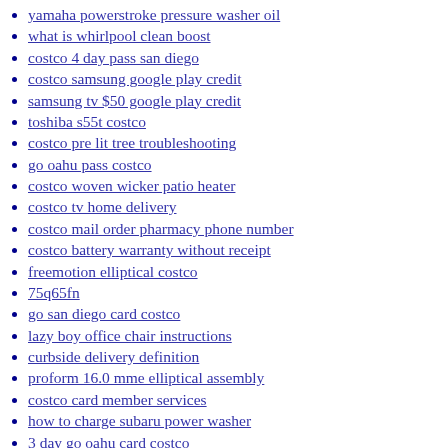yamaha powerstroke pressure washer oil
what is whirlpool clean boost
costco 4 day pass san diego
costco samsung google play credit
samsung tv $50 google play credit
toshiba s55t costco
costco pre lit tree troubleshooting
go oahu pass costco
costco woven wicker patio heater
costco tv home delivery
costco mail order pharmacy phone number
costco battery warranty without receipt
freemotion elliptical costco
75q65fn
go san diego card costco
lazy boy office chair instructions
curbside delivery definition
proform 16.0 mme elliptical assembly
costco card member services
how to charge subaru power washer
3 day go oahu card costco
traeger 07c
costco braised lamb shanks
baterias costco garantia
evolution casablanca spa